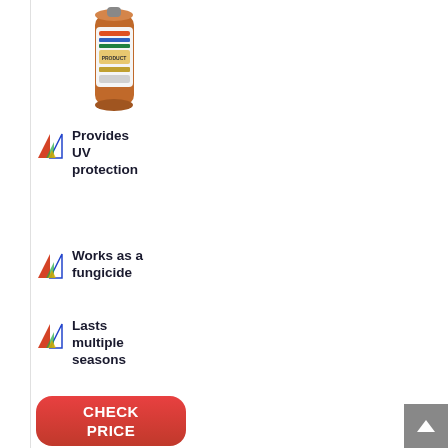[Figure (photo): Product image of a spray can with colorful label, positioned in the left panel]
Provides UV protection
Works as a fungicide
Lasts multiple seasons
[Figure (other): Red rounded rectangle button with text CHECK PRICE]